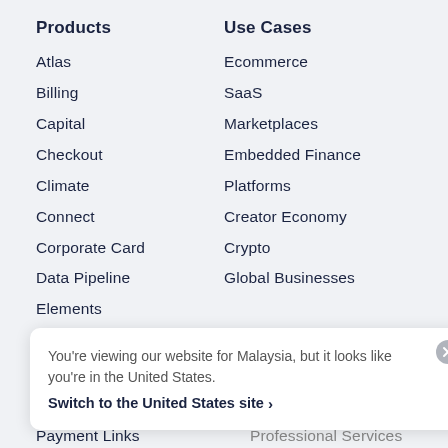Products
Atlas
Billing
Capital
Checkout
Climate
Connect
Corporate Card
Data Pipeline
Elements
Financial Connections
Use Cases
Ecommerce
SaaS
Marketplaces
Embedded Finance
Platforms
Creator Economy
Crypto
Global Businesses
Integrations & Custom
You're viewing our website for Malaysia, but it looks like you're in the United States.
Switch to the United States site ›
Payment Links
Professional Services